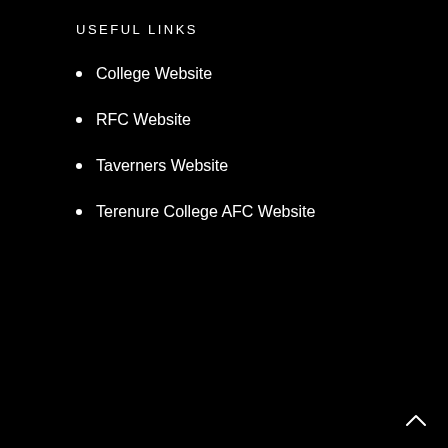USEFUL LINKS
College Website
RFC Website
Taverners Website
Terenure College AFC Website